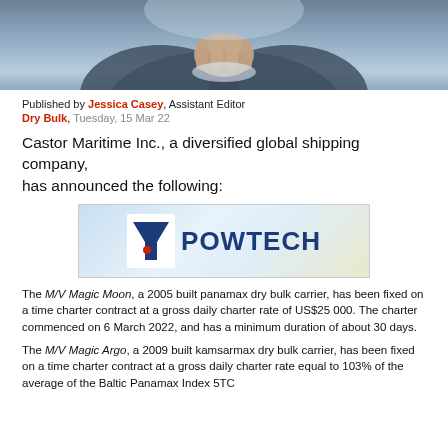[Figure (photo): Close-up photo of hands, person in suit, blue/grey tones, cropped at top of page]
Published by Jessica Casey, Assistant Editor
Dry Bulk, Tuesday, 15 Mar 22
Castor Maritime Inc., a diversified global shipping company, has announced the following:
[Figure (logo): POWTECH logo advertisement banner with funnel/filter icon on light blue background with map motif]
The M/V Magic Moon, a 2005 built panamax dry bulk carrier, has been fixed on a time charter contract at a gross daily charter rate of US$25 000. The charter commenced on 6 March 2022, and has a minimum duration of about 30 days.
The M/V Magic Argo, a 2009 built kamsarmax dry bulk carrier, has been fixed on a time charter contract at a gross daily charter rate equal to 103% of the average of the Baltic Panamax Index 5TC